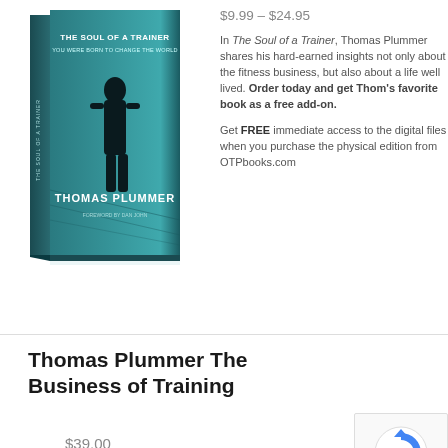$9.99 – $24.95
In The Soul of a Trainer, Thomas Plummer shares his hard-earned insights not only about the fitness business, but also about a life well lived. Order today and get Thom's favorite book as a free add-on.
Get FREE immediate access to the digital files when you purchase the physical edition from OTPbooks.com
[Figure (illustration): Book cover of 'The Soul of a Trainer' by Thomas Plummer, featuring a silhouette of a person against a teal background]
Read more
Thomas Plummer The Business of Training
$39.00
[Figure (other): reCAPTCHA widget]
Shares
[Figure (infographic): Social share bar with SMS, WhatsApp, Email, Facebook, Twitter, Pinterest, and more buttons]